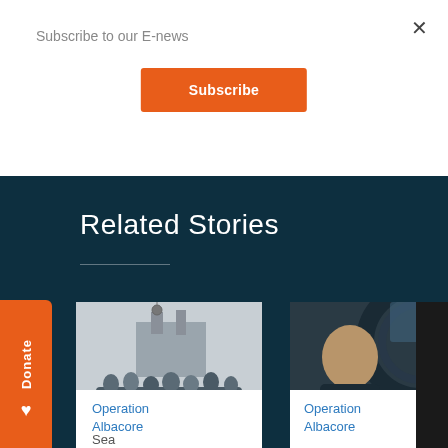Subscribe to our E-news
×
Subscribe
Related Stories
[Figure (photo): Group photo of a team of people on a ship deck]
Operation Albacore
Sea
[Figure (photo): Portrait of a bald man in a dark shirt in an industrial setting]
Operation Albacore